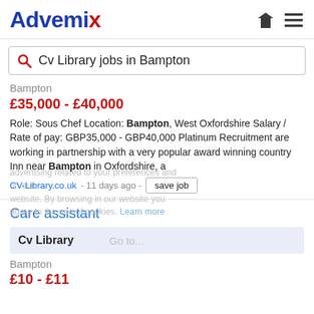[Figure (logo): Advemix logo in blue and red]
Cv Library jobs in Bampton
Bampton
£35,000 - £40,000
Role: Sous Chef Location: Bampton, West Oxfordshire Salary / Rate of pay: GBP35,000 - GBP40,000 Platinum Recruitment are working in partnership with a very popular award winning country Inn near Bampton in Oxfordshire, a
CV-Library.co.uk - 11 days ago - save job
Care assistant
Cv Library
Bampton
£10 - £11